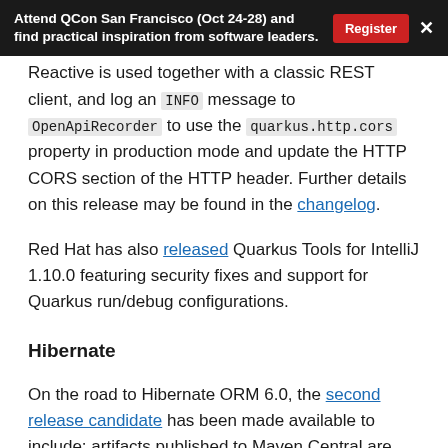Attend QCon San Francisco (Oct 24-28) and find practical inspiration from software leaders. | Register | X
Reactive is used together with a classic REST client, and log an INFO message to OpenApiRecorder to use the quarkus.http.cors property in production mode and update the HTTP CORS section of the HTTP header. Further details on this release may be found in the changelog.
Red Hat has also released Quarkus Tools for IntelliJ 1.10.0 featuring security fixes and support for Quarkus run/debug configurations.
Hibernate
On the road to Hibernate ORM 6.0, the second release candidate has been made available to include: artifacts published to Maven Central are